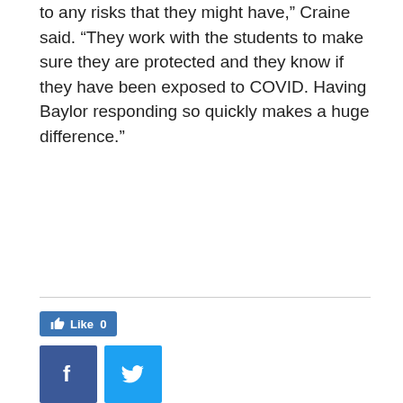to any risks that they might have,” Craine said. “They work with the students to make sure they are protected and they know if they have been exposed to COVID. Having Baylor responding so quickly makes a huge difference.”
[Figure (other): Social media buttons: Facebook Like button showing count 0, Facebook share button (blue with f), Twitter share button (light blue with bird icon)]